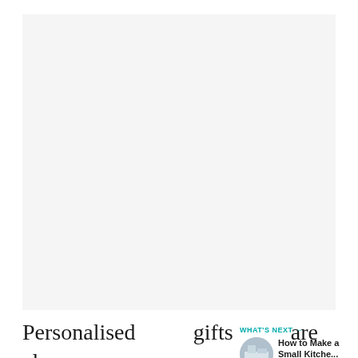[Figure (photo): Large image placeholder area, light gray background, appearing to be a photo related to the article content]
Personalised gifts are always whatever form they take. The internet
WHAT'S NEXT → How to Make a Small Kitche...